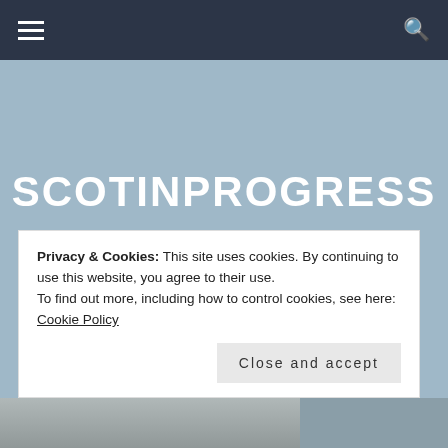Navigation bar with hamburger menu and search icon
SCOTINPROGRESS
A SCOTTISH MOTHER BLOGGING ABOUT LIFE, FAITH, DOUBT AND CROSSING RELIGIOUS DIVIDES
Privacy & Cookies: This site uses cookies. By continuing to use this website, you agree to their use.
To find out more, including how to control cookies, see here: Cookie Policy
Close and accept
[Figure (photo): Bottom portion of a page showing a partial image strip]